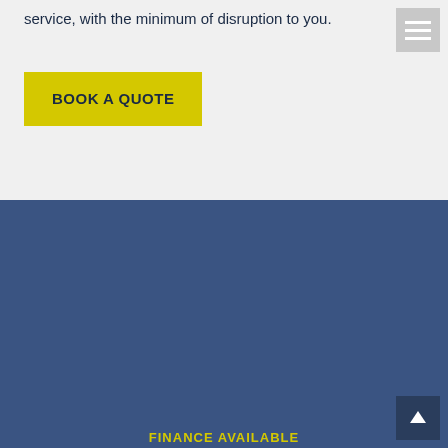service, with the minimum of disruption to you.
BOOK A QUOTE
FINANCE AVAILABLE
REQUEST A QUOTE
APPLY TODAY